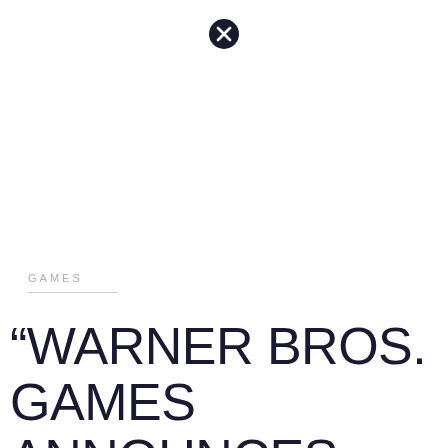[Figure (logo): Black circle with X through it (close/cancel icon) at top center of page]
GAMES
“WARNER BROS. GAMES ANNOUNCES MULTIVERSUS